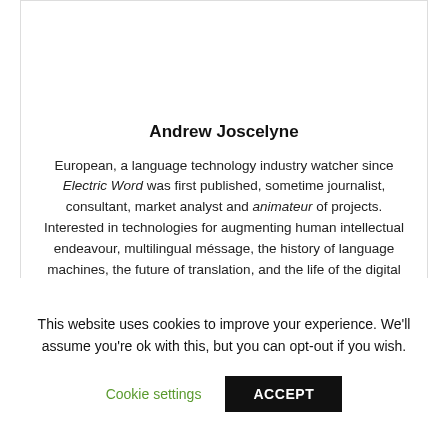Andrew Joscelyne
European, a language technology industry watcher since Electric Word was first published, sometime journalist, consultant, market analyst and animateur of projects. Interested in technologies for augmenting human intellectual endeavour, multilingual message, the history of language machines, the future of translation, and the life of the digital mindset.
This website uses cookies to improve your experience. We'll assume you're ok with this, but you can opt-out if you wish.
Cookie settings   ACCEPT